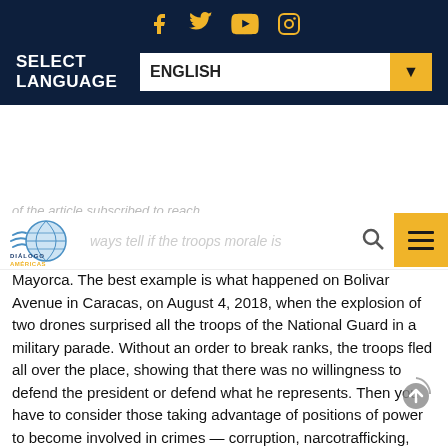[Figure (screenshot): Social media icons row: Facebook, Twitter, YouTube, Instagram in gold/yellow on dark navy background]
SELECT LANGUAGE
ENGLISH (dropdown)
[Figure (logo): Dialogo Americas logo with globe graphic]
Mayorca. The best example is what happened on Bolivar Avenue in Caracas, on August 4, 2018, when the explosion of two drones surprised all the troops of the National Guard in a military parade. Without an order to break ranks, the troops fled all over the place, showing that there was no willingness to defend the president or defend what he represents. Then you have to consider those taking advantage of positions of power to become involved in crimes — corruption, narcotrafficking, etc.
Now, the Venezuelan conflict has moved to the border with Colombia and Brazil, giving service members the opportunity to